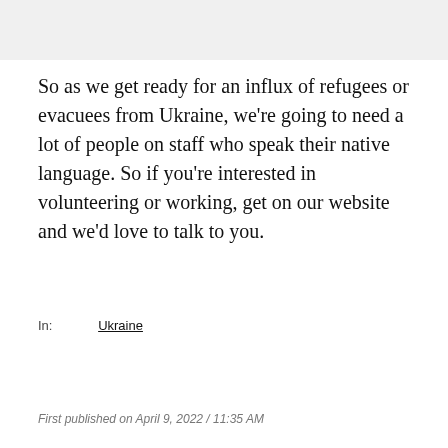So as we get ready for an influx of refugees or evacuees from Ukraine, we're going to need a lot of people on staff who speak their native language. So if you're interested in volunteering or working, get on our website and we'd love to talk to you.
In: Ukraine
First published on April 9, 2022 / 11:35 AM